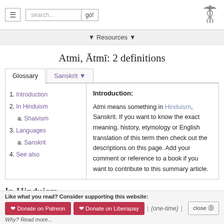Navigation bar with hamburger menu, search box, go button, and caduceus logo
▼ Resources ▼
Atmi, Ātmī: 2 definitions
1. Introduction
2. In Hinduism
a. Shaivism
3. Languages
a. Sanskrit
4. See also
Introduction:
Atmi means something in Hinduism, Sanskrit. If you want to know the exact meaning, history, etymology or English translation of this term then check out the descriptions on this page. Add your comment or reference to a book if you want to contribute to this summary article.
In Hinduism
Like what you read? Consider supporting this website:
♥ Donate on Patreon   ♥ Donate on Liberapay   | (one-time) |   close ⊗
Why? Read more...